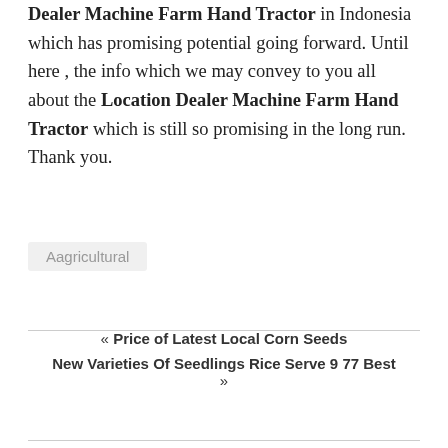Dealer Machine Farm Hand Tractor in Indonesia which has promising potential going forward. Until here , the info which we may convey to you all about the Location Dealer Machine Farm Hand Tractor which is still so promising in the long run. Thank you.
Aagricultural
« Price of Latest Local Corn Seeds
New Varieties Of Seedlings Rice Serve 9 77 Best »